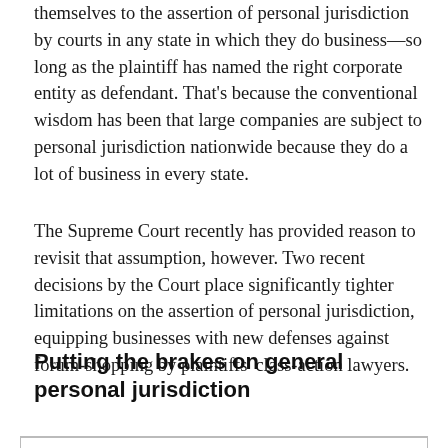themselves to the assertion of personal jurisdiction by courts in any state in which they do business—so long as the plaintiff has named the right corporate entity as defendant. That's because the conventional wisdom has been that large companies are subject to personal jurisdiction nationwide because they do a lot of business in every state.
The Supreme Court recently has provided reason to revisit that assumption, however. Two recent decisions by the Court place significantly tighter limitations on the assertion of personal jurisdiction, equipping businesses with new defenses against forum-shopping by plaintiffs' class-action lawyers.
Putting the brakes on general personal jurisdiction